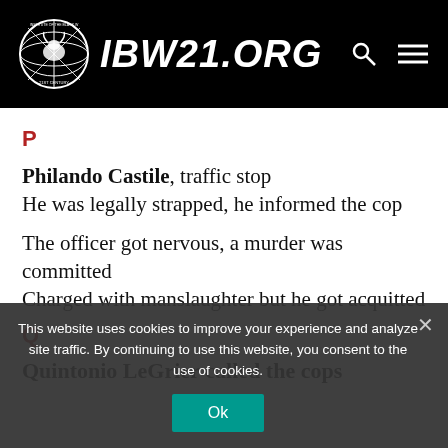IBW21.ORG
P
Philando Castile, traffic stop
He was legally strapped, he informed the cop
The officer got nervous, a murder was committed
Charged with manslaughter but he got acquitted
Q
Quintonio LeGrier called the cops
This website uses cookies to improve your experience and analyze site traffic. By continuing to use this website, you consent to the use of cookies.